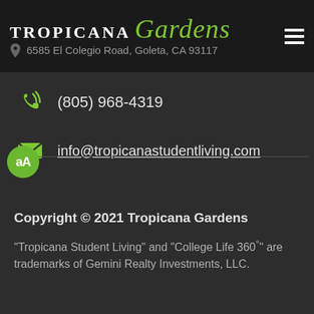TROPICANA Gardens — 6585 El Colegio Road, Goleta, CA 93117
(805) 968-4319
info@tropicanastudentliving.com
Copyright © 2021 Tropicana Gardens
"Tropicana Student Living" and "College Life 360°" are trademarks of Gemini Realty Investments, LLC.